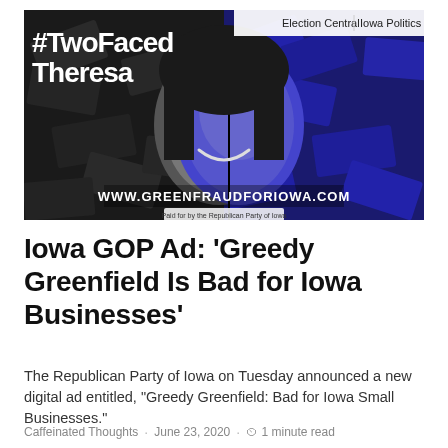[Figure (photo): Political attack ad image with '#TwoFacedTheresa' text overlaid on a split black-and-white/blue photo of a woman smiling, surrounded by dollar bills. Text at bottom: WWW.GREENFRAUDFORIOWA.COM and 'Paid for by the Republican Party of Iowa'. Top right shows navigation links: Election Central | Iowa Politics]
Iowa GOP Ad: ‘Greedy Greenfield Is Bad for Iowa Businesses’
The Republican Party of Iowa on Tuesday announced a new digital ad entitled, “Greedy Greenfield: Bad for Iowa Small Businesses.”
Caffeinated Thoughts · June 23, 2020 · 1 minute read